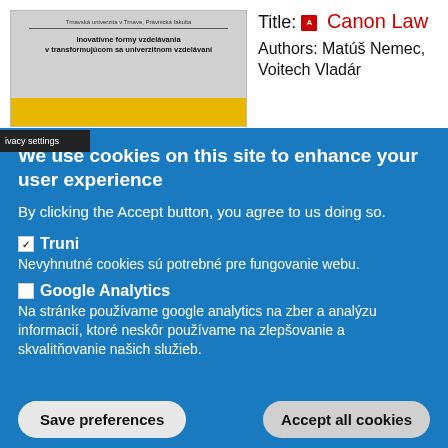[Figure (screenshot): Thumbnail of a Slovak academic document titled 'Inovatívne formy vzdelávania v transformujúcom sa univerzitnom vzdelávaní' from Trnavská univerzita v Trnave, Právnická fakulta]
Title: Canon Law
Authors: Matúš Nemec, Voitech Vladár
ivacy settings
We use cookies on this site to enhance your user experience
By clicking the Accept button, you agree to us doing so.
Truni
Nevyhnutné cookies sú potrebné pre fungovanie webu.
Google Analytics
Na stránke používame google analytics na zber a analýzu informacií, ktoré neskôr používame na zlepšovanie a skvalitňovanie našich služieb.
Save preferences
Accept all cookies